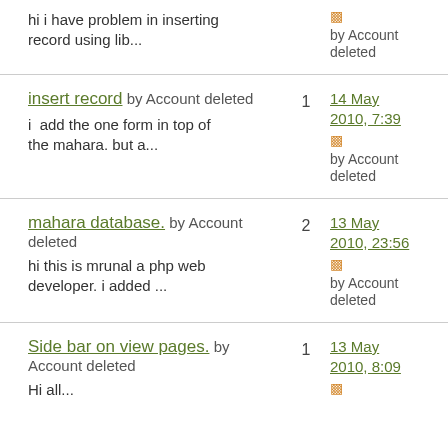hi i have problem in inserting record using lib... by Account deleted
insert record by Account deleted | 1 | 14 May 2010, 7:39 | by Account deleted
i  add the one form in top of the mahara. but a...
mahara database. by Account deleted | 2 | 13 May 2010, 23:56 | by Account deleted
hi this is mrunal a php web developer. i added ...
Side bar on view pages. by Account deleted | 1 | 13 May 2010, 8:09
Hi all...